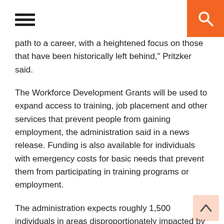Navigation header with hamburger menu and search button
path to a career, with a heightened focus on those that have been historically left behind," Pritzker said.
The Workforce Development Grants will be used to expand access to training, job placement and other services that prevent people from gaining employment, the administration said in a news release. Funding is also available for individuals with emergency costs for basic needs that prevent them from participating in training programs or employment.
The administration expects roughly 1,500 individuals in areas disproportionately impacted by the pandemic will receive services.
“We’re focusing on getting people back to work in ways that build careers that are meaningful and bring home